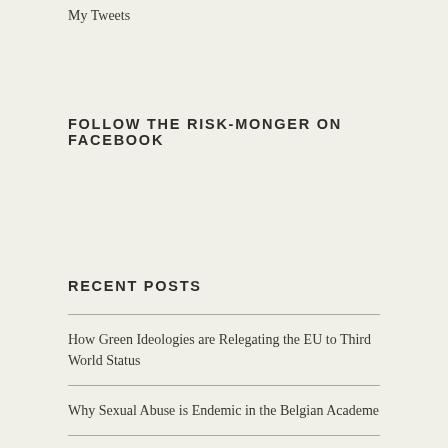My Tweets
FOLLOW THE RISK-MONGER ON FACEBOOK
RECENT POSTS
How Green Ideologies are Relegating the EU to Third World Status
Why Sexual Abuse is Endemic in the Belgian Academe
Definitions matter